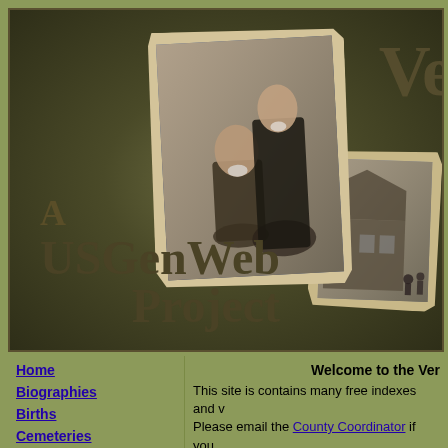[Figure (illustration): Banner image with olive/dark green gradient background, two torn sepia photographs (one showing a Victorian-era couple portrait, another showing a historic building scene), large 'Ve...' text cut off on right, and text overlay reading 'A USGenWeb Project']
Home
Biographies
Births
Cemeteries
Welcome to the Ver... This site is contains many free indexes and ... Please email the County Coordinator if you ... encounter a broken link. YOU MAY FREELY LINK TO TH...